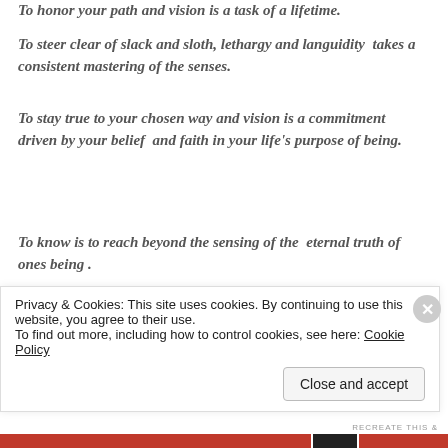To honor your path and vision is a task of a lifetime.
To steer clear of slack and sloth, lethargy and languidity takes a consistent mastering of the senses.
To stay true to your chosen way and vision is a commitment driven by your belief and faith in your life's purpose of being.
To know is to reach beyond the sensing of the eternal truth of ones being .
And all the challenges happening along in the journey,
Privacy & Cookies: This site uses cookies. By continuing to use this website, you agree to their use. To find out more, including how to control cookies, see here: Cookie Policy
Close and accept